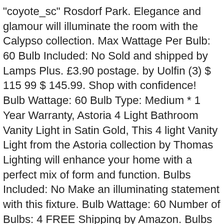"coyote_sc" Rosdorf Park. Elegance and glamour will illuminate the room with the Calypso collection. Max Wattage Per Bulb: 60 Bulb Included: No Sold and shipped by Lamps Plus. £3.90 postage. by Uolfin (3) $ 115 99 $ 145.99. Shop with confidence! Bulb Wattage: 60 Bulb Type: Medium * 1 Year Warranty, Astoria 4 Light Bathroom Vanity Light in Satin Gold, This 4 light Vanity Light from the Astoria collection by Thomas Lighting will enhance your home with a perfect mix of form and function. Bulbs Included: No Make an illuminating statement with this fixture. Bulb Wattage: 60 Number of Bulbs: 4 FREE Shipping by Amazon. Bulbs not included. Draped in an abundance of smoothed shaped clear drops and balls, this contemporary collection is a perfect statement to a living room, dining room, bathroom, or entry. 817-514-8552 M-F: 9am-5pm, Sat: 10am-4pm Bulb Wattage: NaN This style Jedi looks right at home with contemporary, modern, midcentury and industrial décor, and can be mounted horizontally or vertically to best fit